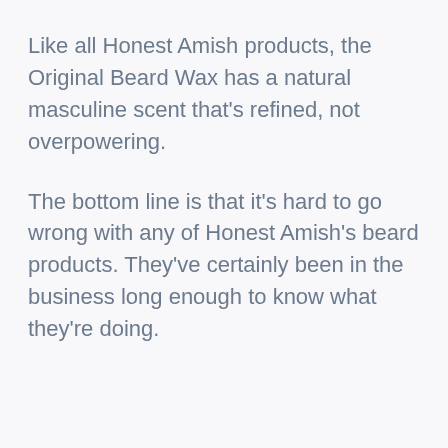Like all Honest Amish products, the Original Beard Wax has a natural masculine scent that's refined, not overpowering.
The bottom line is that it's hard to go wrong with any of Honest Amish's beard products. They've certainly been in the business long enough to know what they're doing.